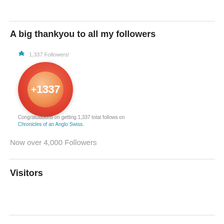A big thankyou to all my followers
[Figure (infographic): A WordPress achievement badge circle: orange-red gradient circle with +1337 text in white, smaller inner glow circle, with trophy icon and '1,337 Followers!' label above. Congratulations message below: 'Congratulations on getting 1,337 total follows on Chronicles of an Anglo Swiss.']
Now over 4,000 Followers
Visitors